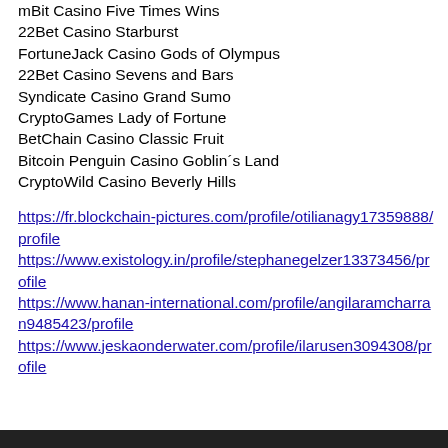mBit Casino Five Times Wins
22Bet Casino Starburst
FortuneJack Casino Gods of Olympus
22Bet Casino Sevens and Bars
Syndicate Casino Grand Sumo
CryptoGames Lady of Fortune
BetChain Casino Classic Fruit
Bitcoin Penguin Casino Goblin´s Land
CryptoWild Casino Beverly Hills
https://fr.blockchain-pictures.com/profile/otilianagy17359888/profile https://www.existology.in/profile/stephanegelzer13373456/profile https://www.hanan-international.com/profile/angilaramcharran9485423/profile https://www.jeskaonderwater.com/profile/ilarusen3094308/profile